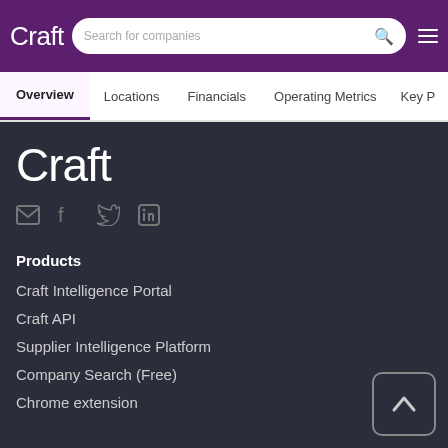Craft — Search for companies
Overview | Locations | Financials | Operating Metrics | Key P
Craft
[Figure (other): Social icons: email, facebook, twitter, linkedin]
Products
Craft Intelligence Portal
Craft API
Supplier Intelligence Platform
Company Search (Free)
Chrome extension